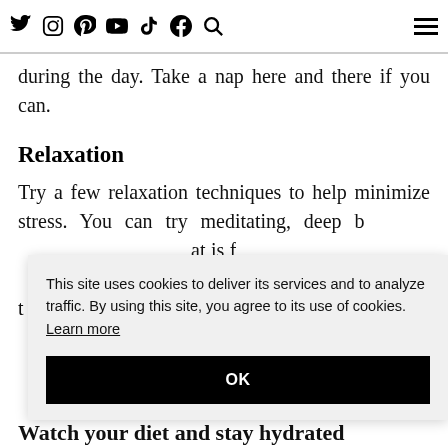Social media icons: Twitter, Instagram, Pinterest, YouTube, TikTok, Facebook, Search, Menu
during the day. Take a nap here and there if you can.
Relaxation
Try a few relaxation techniques to help minimize stress. You can try meditating, deep b[reathing, yoga, or any other activity th]at is f[ound to reduce stress. Whether it's yoga r or] o[ther mindfulness practice,] [pla]ying t[ennis, or simply taking a walk, even] a 2- m[inute walk can help manage stress and y]ou'll h[elp your body recover faster.] h
This site uses cookies to deliver its services and to analyze traffic. By using this site, you agree to its use of cookies. Learn more
OK
Watch your diet and stay hydrated